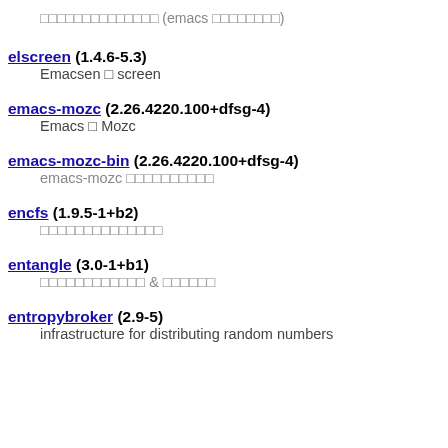□□□□□□□□□□□□□□ (emacs □□□□□□□□)
elscreen (1.4.6-5.3)
Emacsen □ screen
emacs-mozc (2.26.4220.100+dfsg-4)
Emacs □ Mozc
emacs-mozc-bin (2.26.4220.100+dfsg-4)
emacs-mozc □□□□□□□□□□
encfs (1.9.5-1+b2)
□□□□□□□□□□□□□□
entangle (3.0-1+b1)
□□□□□□□□□□□□ & □□□□□□
entropybroker (2.9-5)
infrastructure for distributing random numbers